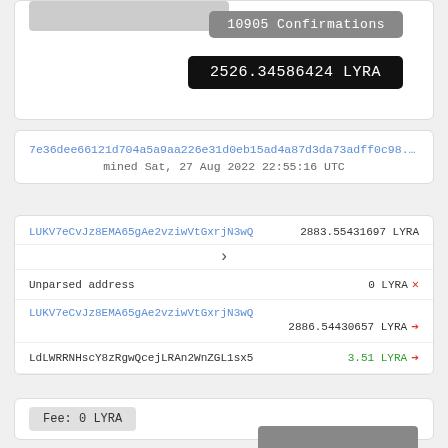10905 Confirmations
2526.34586424 LYRA
7e36dee66121d704a5a9aa226e31d0eb15ad4a87d3da73adff0c98...
mined Sat, 27 Aug 2022 22:55:16 UTC
LUKV7eCvJz8EMA65gAe2vziwVtGxrjN3wQ   2883.55431697 LYRA
Unparsed address   0 LYRA ×
LUKV7eCvJz8EMA65gAe2vziwVtGxrjN3wQ
2886.54430657 LYRA →
LdLWRRNHscY8zRgwQcejLRAn2WnZGL1sx5   3.51 LYRA →
Fee: 0 LYRA